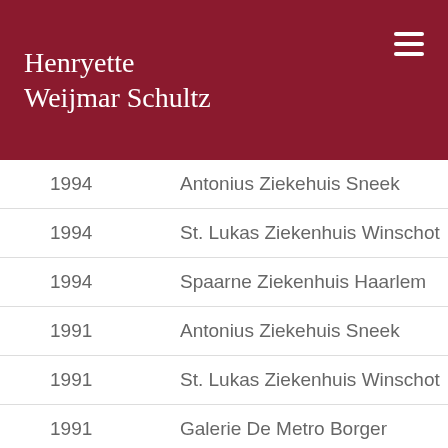Henryette Weijmar Schultz
| Year | Venue |
| --- | --- |
| 1994 | Antonius Ziekehuis Sneek |
| 1994 | St. Lukas Ziekenhuis Winschot |
| 1994 | Spaarne Ziekenhuis Haarlem |
| 1991 | Antonius Ziekehuis Sneek |
| 1991 | St. Lukas Ziekenhuis Winschot |
| 1991 | Galerie De Metro Borger |
| 1989 | KRO' s schaaktweekamp Jan... |
| 1986 | Veldhoven (Congrescentrum) |